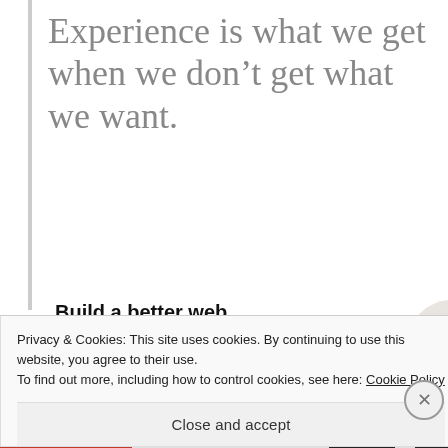Experience is what we get when we don't get what we want.
[Figure (infographic): Advertisement banner: 'Build a better web and a better world.' with an Apply button and a circular photo of a person thinking]
Privacy & Cookies: This site uses cookies. By continuing to use this website, you agree to their use.
To find out more, including how to control cookies, see here: Cookie Policy
Close and accept